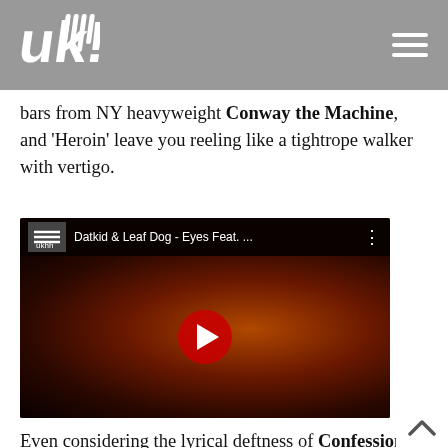ukhh logo and navigation
bars from NY heavyweight Conway the Machine, and 'Heroin' leave you reeling like a tightrope walker with vertigo.
[Figure (screenshot): YouTube embedded video player showing 'Datkid & Leaf Dog - Eyes Feat. ...' with a dark stage performance background and red play button]
Even considering the lyrical deftness of Confessions, the secret ingredient here is Leaf Dog's reliably slick production. The album hangs on Datkid's effortless delivery, but the soundscapes composed by the Four Owls' producer make it. From the Mediterranean-